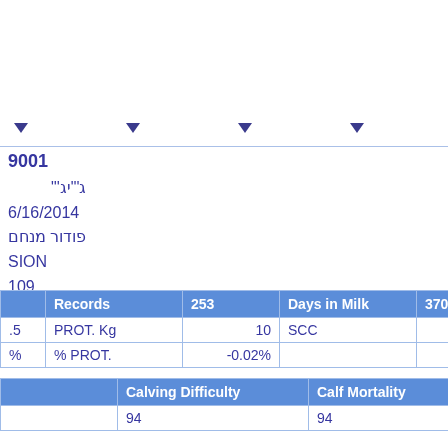9001
ג"יג"
6/16/2014
פודור מנחם
SION
109
79
|  | Records | 253 | Days in Milk | 370 |
| --- | --- | --- | --- | --- |
| .5 | PROT. Kg | 10 | SCC | -0.04 |
| % | % PROT. | -0.02% |  |  |
|  | Calving Difficulty | Calf Mortality |
| --- | --- | --- |
|  | 94 | 94 |